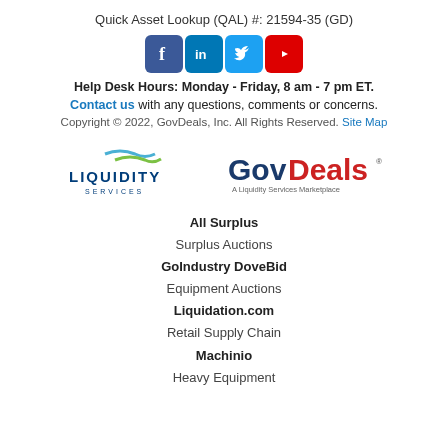Quick Asset Lookup (QAL) #: 21594-35 (GD)
[Figure (logo): Social media icons: Facebook, LinkedIn, Twitter, YouTube]
Help Desk Hours: Monday - Friday, 8 am - 7 pm ET.
Contact us with any questions, comments or concerns.
Copyright © 2022, GovDeals, Inc. All Rights Reserved. Site Map
[Figure (logo): Liquidity Services logo and GovDeals - A Liquidity Services Marketplace logo]
All Surplus
Surplus Auctions
GoIndustry DoveBid
Equipment Auctions
Liquidation.com
Retail Supply Chain
Machinio
Heavy Equipment